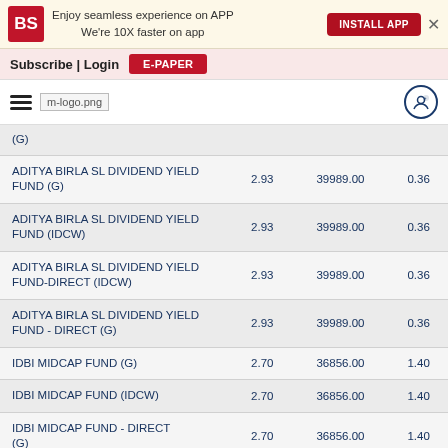Enjoy seamless experience on APP We're 10X faster on app | INSTALL APP
Subscribe | Login | E-PAPER
| Fund Name | Col2 | Col3 | Col4 |
| --- | --- | --- | --- |
| (G) |  |  |  |
| ADITYA BIRLA SL DIVIDEND YIELD FUND (G) | 2.93 | 39989.00 | 0.36 |
| ADITYA BIRLA SL DIVIDEND YIELD FUND (IDCW) | 2.93 | 39989.00 | 0.36 |
| ADITYA BIRLA SL DIVIDEND YIELD FUND-DIRECT (IDCW) | 2.93 | 39989.00 | 0.36 |
| ADITYA BIRLA SL DIVIDEND YIELD FUND - DIRECT (G) | 2.93 | 39989.00 | 0.36 |
| IDBI MIDCAP FUND (G) | 2.70 | 36856.00 | 1.40 |
| IDBI MIDCAP FUND (IDCW) | 2.70 | 36856.00 | 1.40 |
| IDBI MIDCAP FUND - DIRECT (G) | 2.70 | 36856.00 | 1.40 |